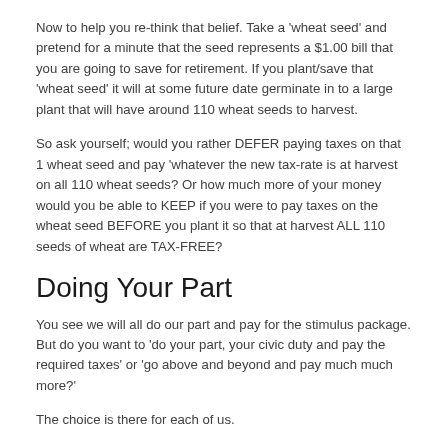Now to help you re-think that belief. Take a 'wheat seed' and pretend for a minute that the seed represents a $1.00 bill that you are going to save for retirement. If you plant/save that 'wheat seed' it will at some future date germinate in to a large plant that will have around 110 wheat seeds to harvest.
So ask yourself; would you rather DEFER paying taxes on that 1 wheat seed and pay 'whatever the new tax-rate is at harvest on all 110 wheat seeds? Or how much more of your money would you be able to KEEP if you were to pay taxes on the wheat seed BEFORE you plant it so that at harvest ALL 110 seeds of wheat are TAX-FREE?
Doing Your Part
You see we will all do our part and pay for the stimulus package. But do you want to 'do your part, your civic duty and pay the required taxes' or 'go above and beyond and pay much much more?'
The choice is there for each of us.